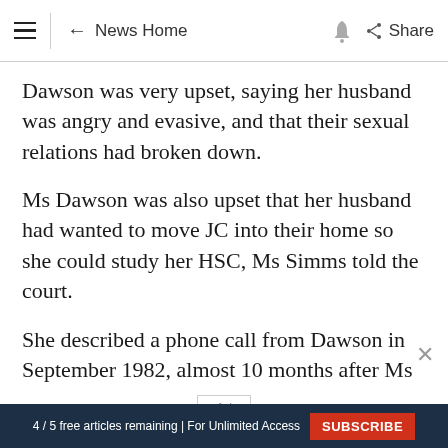≡ ← News Home 🔔 Share
Dawson was very upset, saying her husband was angry and evasive, and that their sexual relations had broken down.
Ms Dawson was also upset that her husband had wanted to move JC into their home so she could study her HSC, Ms Simms told the court.
She described a phone call from Dawson in September 1982, almost 10 months after Ms
Ad
4 / 5 free articles remaining | For Unlimited Access SUBSCRIBE